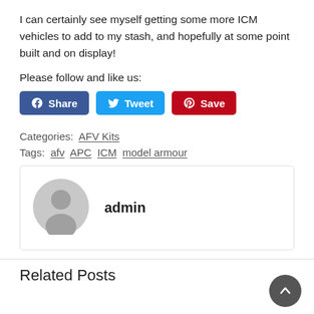I can certainly see myself getting some more ICM vehicles to add to my stash, and hopefully at some point built and on display!
Please follow and like us:
[Figure (other): Social share buttons: Facebook Share, Twitter Tweet, Pinterest Save]
Categories: AFV Kits
Tags: afv APC ICM model armour
[Figure (other): Author card with avatar and name: admin]
Related Posts